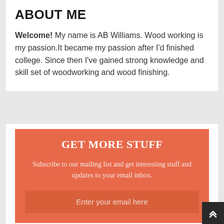ABOUT ME
Welcome! My name is AB Williams. Wood working is my passion.It became my passion after I'd finished college. Since then I've gained strong knowledge and skill set of woodworking and wood finishing.
GET MORE STUFF
Subscribe to our mailing list and get interesting stuff and updates to your email inbox.
Enter your email here